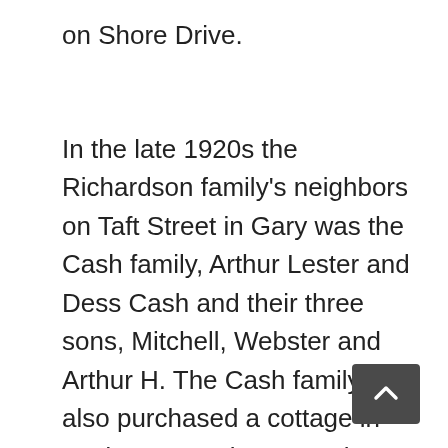on Shore Drive.
In the late 1920s the Richardson family's neighbors on Taft Street in Gary was the Cash family, Arthur Lester and Dess Cash and their three sons, Mitchell, Webster and Arthur H. The Cash family had also purchased a cottage in Ogden Dunes in 1928, about two blocks west of the Richardson cottage.  A. L. Cash became one of the major building contractors in Ogden Dunes from the late 1920s to the late 1950s.